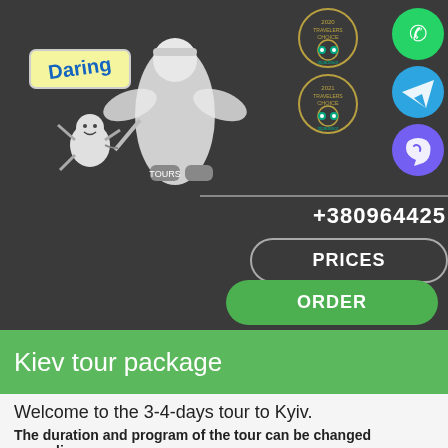[Figure (illustration): Daring Tours company logo: cartoon devil character holding a 'Daring' sign being led by a Greek goddess/angel figure on roller skates labeled 'TOURS']
[Figure (logo): TripAdvisor Travelers Choice 2020 and 2021 badges]
[Figure (illustration): WhatsApp, Telegram, and Viber social contact icons (green, blue, purple circles)]
+38096442...
PRICES
ORDER
Kiev tour package
Welcome to the 3-4-days tour to Kyiv.
The duration and program of the tour can be changed according...